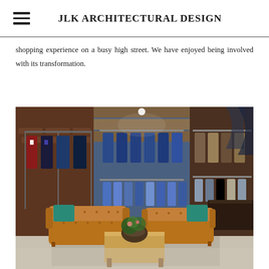JLK ARCHITECTURAL DESIGN
shopping experience on a busy high street. We have enjoyed being involved with its transformation.
[Figure (photo): Interior of a men's clothing store featuring leather Chesterfield sofas with teal cushions arranged around a wooden coffee table with a plant, surrounded by suits and clothing on display racks against brick walls with industrial metal shelving.]